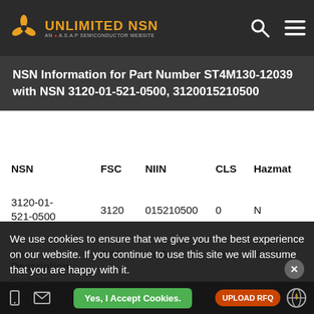UNLIMITED NSN — AN A.S.A.P SEMICONDUCTOR WEBSITE
NSN Information for Part Number ST4M130-12039 with NSN 3120-01-521-0500, 3120015210500
| NSN | FSC | NIIN | CLS | Hazmat |
| --- | --- | --- | --- | --- |
| 3120-01-521-0500 | 3120 | 015210500 | 0 | N |
| Item Description: | CIIC | HCC | ESD | PMIC |
| --- | --- | --- | --- | --- |
| Bushing Sleeve |  |  |  |  |
We use cookies to ensure that we give you the best experience on our website. If you continue to use this site we will assume that you are happy with it.